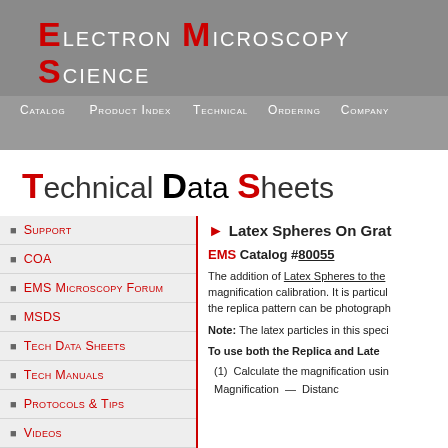Electron Microscopy Science
Catalog  Product Index  Technical  Ordering  Company
Technical Data Sheets
Support
COA
EMS Microscopy Forum
MSDS
Tech Data Sheets
Tech Manuals
Protocols & Tips
Videos
Workshops
Latex Spheres On Grat...
EMS Catalog #80055
The addition of Latex Spheres to the magnification calibration. It is particularly the replica pattern can be photograph...
Note: The latex particles in this speci...
To use both the Replica and Late...
(1)  Calculate the magnification usin...
Magnification — Distanc...